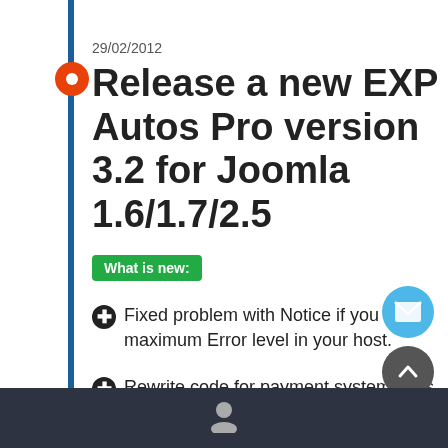29/02/2012
Release a new EXP Autos Pro version 3.2 for Joomla 1.6/1.7/2.5
What is new:
Fixed problem with Notice if you use maximum Error level in your host.
Rewrite code for payment system , this time automatic update database after payment and add information in EXP Autos Pro payment database
New module EXP Autos Pro Google Maps Dealers.